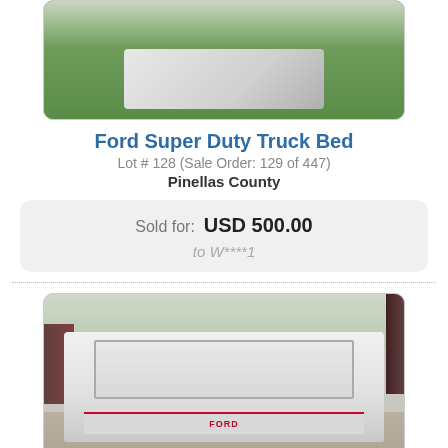[Figure (photo): Top portion of a truck bed (white Ford Super Duty) lying on green grass, partially visible crop of the item]
Ford Super Duty Truck Bed
Lot # 128 (Sale Order: 129 of 447)
Pinellas County
| Sold for: | USD 500.00 |
| to | W****1 |
[Figure (photo): White Ford Super Duty truck bed sitting on pavement/dirt at an outdoor salvage or auction yard, view showing interior of bed and rear tailgate with Ford logo and red taillights]